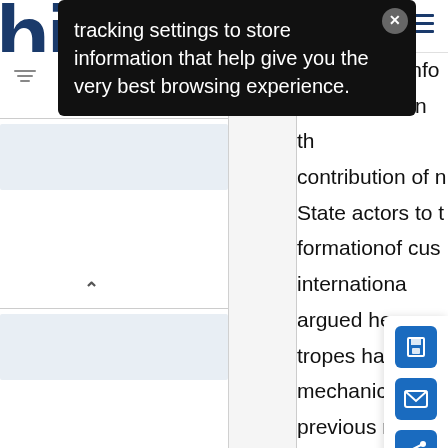[Figure (screenshot): Screenshot of a website interface showing a cookie/tracking notification popup overlay (black background with white text), a left sidebar with filter controls and chevron collapse icons, and the right portion of a main content area showing partial article text.]
tracking settings to store information that help give you the very best browsing experience.
continue to info discourses on th contribution of n State actors to t formationof cus internationa argued here tropes have mechanically previous rounds scholarly debate non-State actors